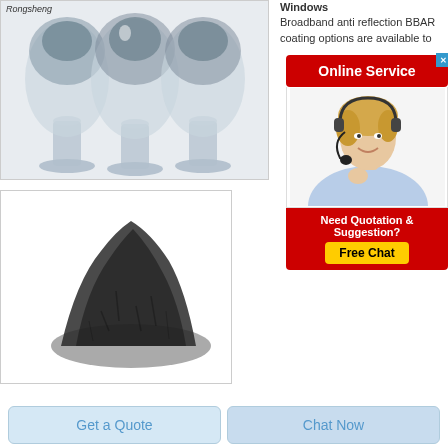[Figure (photo): Three glass vial/egg-shaped containers filled with grey-blue powder, labeled Rongsheng, on a white background]
[Figure (photo): A pile of dark grey/black powder on a white background]
Windows
Broadband anti reflection BBAR coating options are available to
[Figure (infographic): Red Online Service advertisement banner with close button, photo of blonde woman with headset, and Need Quotation & Suggestion? Free Chat button in yellow]
Get a Quote
Chat Now